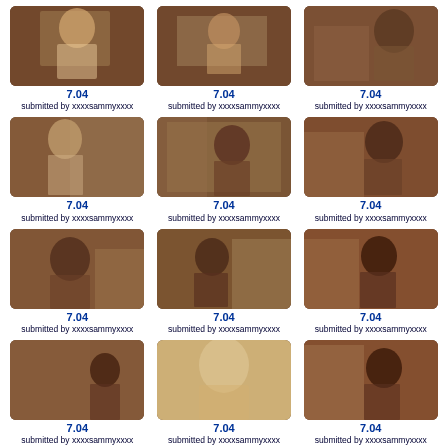[Figure (photo): TV show screenshot grid - 12 full thumbnails and 3 partial at bottom, all labeled 7.04 submitted by xxxxsammyxxxx]
7.04
submitted by xxxxsammyxxxx
7.04
submitted by xxxxsammyxxxx
7.04
submitted by xxxxsammyxxxx
7.04
submitted by xxxxsammyxxxx
7.04
submitted by xxxxsammyxxxx
7.04
submitted by xxxxsammyxxxx
7.04
submitted by xxxxsammyxxxx
7.04
submitted by xxxxsammyxxxx
7.04
submitted by xxxxsammyxxxx
7.04
submitted by xxxxsammyxxxx
7.04
submitted by xxxxsammyxxxx
7.04
submitted by xxxxsammyxxxx